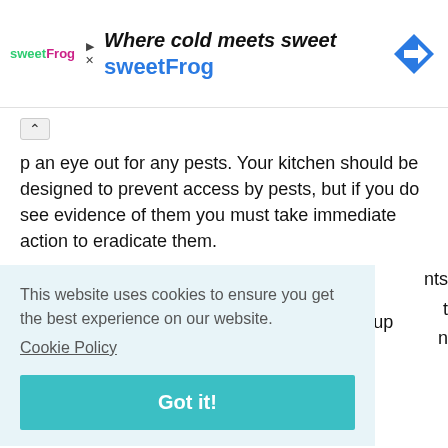Where cold meets sweet sweetFrog
p an eye out for any pests. Your kitchen should be designed to prevent access by pests, but if you do see evidence of them you must take immediate action to eradicate them.
Get Trained on Food Safety
There are courses you can go on to get you up to date with the latest requirements ... not ... n
This website uses cookies to ensure you get the best experience on our website. Cookie Policy
Got it!
Further Reading